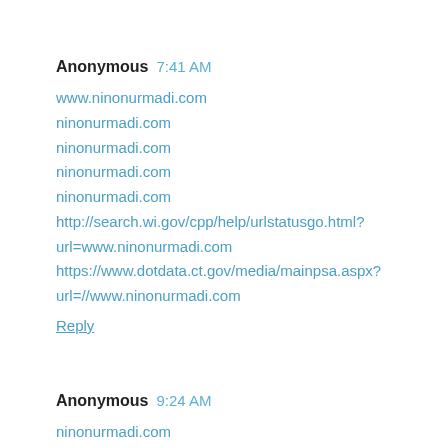Anonymous 7:41 AM
www.ninonurmadi.com
ninonurmadi.com
ninonurmadi.com
ninonurmadi.com
ninonurmadi.com
http://search.wi.gov/cpp/help/urlstatusgo.html?url=www.ninonurmadi.com
https://www.dotdata.ct.gov/media/mainpsa.aspx?url=//www.ninonurmadi.com
Reply
Anonymous 9:24 AM
ninonurmadi.com
ninonurmadi.com
ninonurmadi.com
ninonurmadi.com
ninonurmadi.com